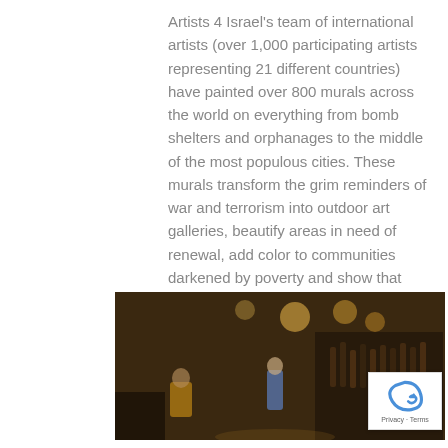Artists 4 Israel's team of international artists (over 1,000 participating artists representing 21 different countries) have painted over 800 murals across the world on everything from bomb shelters and orphanages to the middle of the most populous cities. These murals transform the grim reminders of war and terrorism into outdoor art galleries, beautify areas in need of renewal, add color to communities darkened by poverty and show that people in need are supported by Israel, artists and the creative communities of the world.
[Figure (photo): Interior photo of a restaurant or bar scene with warm amber lighting, green plants in the foreground top-left, a figure in a blue jacket standing near the center, dark wood interior, bottles on shelves in background, and partial 'AP' signage visible.]